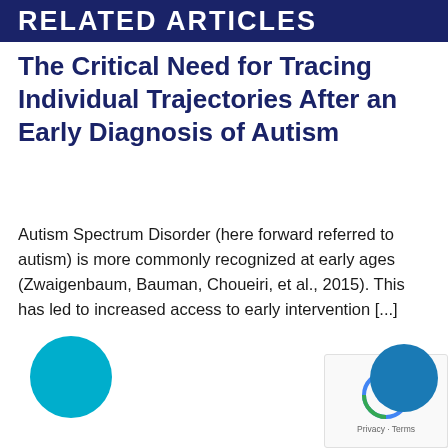RELATED ARTICLES
The Critical Need for Tracing Individual Trajectories After an Early Diagnosis of Autism
Autism Spectrum Disorder (here forward referred to autism) is more commonly recognized at early ages (Zwaigenbaum, Bauman, Choueiri, et al., 2015). This has led to increased access to early intervention [...]